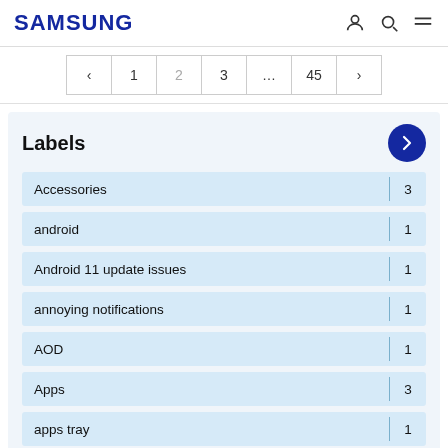SAMSUNG
< 1 2 3 … 45 >
Labels
Accessories | 3
android | 1
Android 11 update issues | 1
annoying notifications | 1
AOD | 1
Apps | 3
apps tray | 1